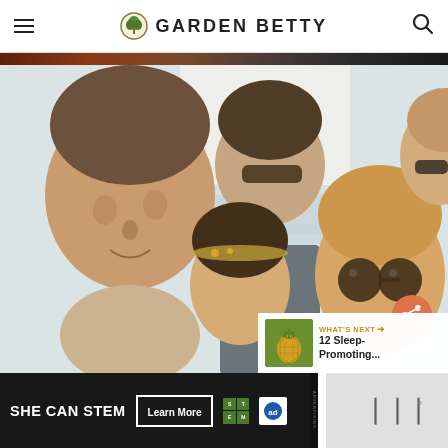GARDEN BETTY
[Figure (photo): Partial top strip of a photo showing warm reddish-brown tones]
[Figure (photo): Group of people outdoors near water/beach, smiling, some wearing sunglasses, bright natural lighting]
[Figure (photo): What's Next thumbnail: pineapple image for article '12 Sleep-Promoting...']
[Figure (advertisement): SHE CAN STEM ad banner with Learn More button, STEM logo, and Ad Council logo]
[Figure (logo): Right side: stylized logo resembling triple-bar 'W' with degree symbol]